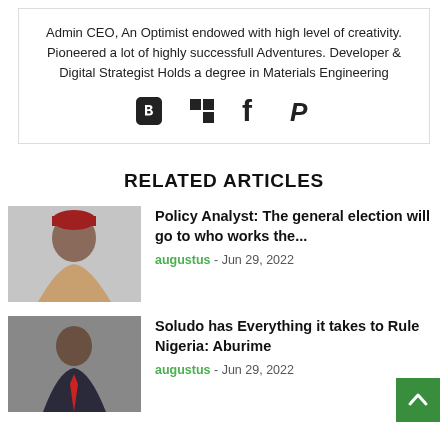Admin CEO, An Optimist endowed with high level of creativity. Pioneered a lot of highly successfull Adventures. Developer & Digital Strategist Holds a degree in Materials Engineering
[Figure (illustration): Social media icons: Blogger (B), Delicious/Squares, Facebook (f), PayPal (P)]
RELATED ARTICLES
[Figure (photo): Photo of a man wearing a red traditional cap and tan/beige outfit, headshot against light background]
Policy Analyst: The general election will go to who works the...
augustus - Jun 29, 2022
[Figure (photo): Photo of a man in a suit with a red tie, partial view]
Soludo has Everything it takes to Rule Nigeria: Aburime
augustus - Jun 29, 2022